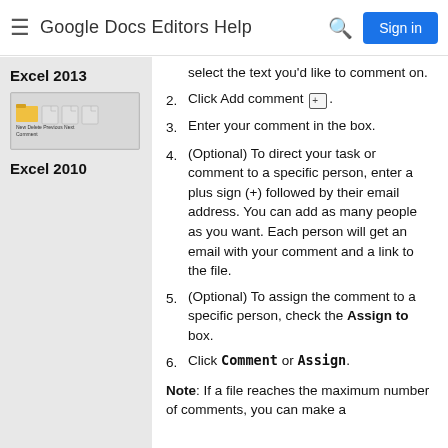Google Docs Editors Help
Excel 2013
[Figure (screenshot): Excel 2013 toolbar screenshot showing New, Delete, Previous, Next Comment buttons]
Excel 2010
select the text you'd like to comment on.
Click Add comment [icon].
Enter your comment in the box.
(Optional) To direct your task or comment to a specific person, enter a plus sign (+) followed by their email address. You can add as many people as you want. Each person will get an email with your comment and a link to the file.
(Optional) To assign the comment to a specific person, check the Assign to box.
Click Comment or Assign.
Note: If a file reaches the maximum number of comments, you can make a copy of the file with out comments.